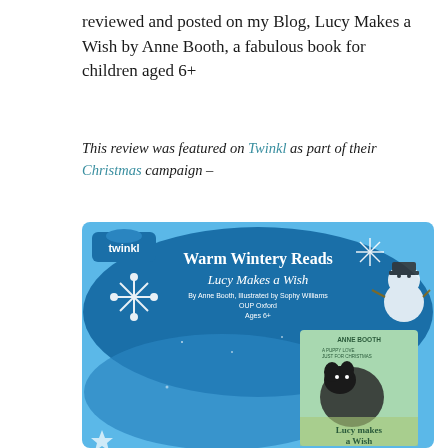reviewed and posted on my Blog, Lucy Makes a Wish by Anne Booth, a fabulous book for children aged 6+
This review was featured on Twinkl as part of their Christmas campaign –
[Figure (infographic): Twinkl 'Warm Wintery Reads' promotional infographic featuring Lucy Makes a Wish by Anne Booth, Illustrated by Sophy Williams, OUP Oxford, Ages 6+. Blue winter-themed background with snowflakes, snowman, and book cover showing a puppy. Includes story summary and review text.]